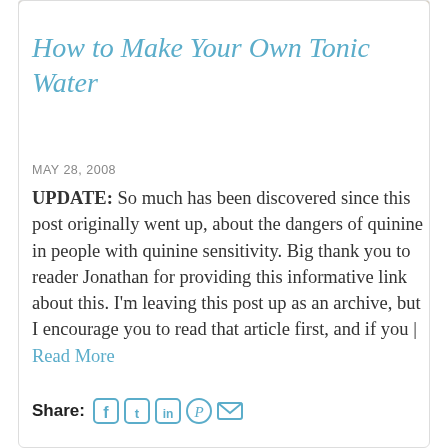[Figure (photo): Top image strip showing food/drink photograph in warm orange/golden tones]
How to Make Your Own Tonic Water
MAY 28, 2008
UPDATE: So much has been discovered since this post originally went up, about the dangers of quinine in people with quinine sensitivity. Big thank you to reader Jonathan for providing this informative link about this. I’m leaving this post up as an archive, but I encourage you to read that article first, and if you | Read More
Share: [Facebook] [Twitter] [LinkedIn] [Pinterest] [Email]